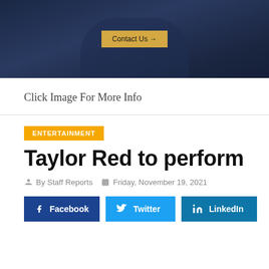[Figure (photo): Dark blue background image showing a person in a suit, partially visible. A gold 'Contact Us →' button is centered over the image.]
Click Image For More Info
ENTERTAINMENT
Taylor Red to perform
By Staff Reports   Friday, November 19, 2021
Facebook  Twitter  LinkedIn